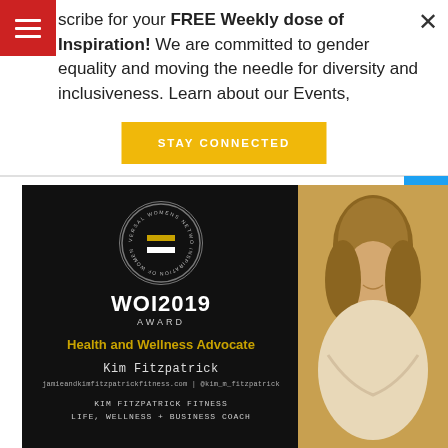Subscribe for your FREE Weekly dose of Inspiration! We are committed to gender equality and moving the needle for diversity and inclusiveness. Learn about our Events,
STAY CONNECTED
[Figure (photo): WOI2019 Award card for Kim Fitzpatrick, Health and Wellness Advocate, with Universal Womens Network logo on black background left side and sepia photo of blonde woman on right side. Text includes jamieandkimfitzpatrickfitness.com | @kim_m_fitzpatrick and KIM FITZPATRICK FITNESS Life, Wellness + Business Coach]